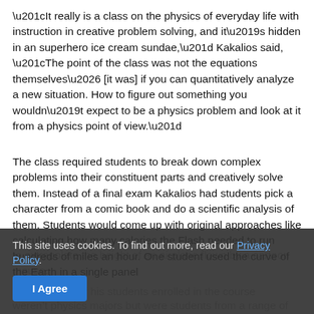“It really is a class on the physics of everyday life with instruction in creative problem solving, and it’s hidden in an superhero ice cream sundae,” Kakalios said, “The point of the class was not the equations themselves… [it was] if you can quantitatively analyze a new situation. How to figure out something you wouldn’t expect to be a physics problem and look at it from a physics point of view.”
The class required students to break down complex problems into their constituent parts and creatively solve them. Instead of a final exam Kakalios had students pick a character from a comic book and do a scientific analysis of them. Students would come up with original approaches like calculating how many calories the Flash needed to run hundreds of miles an hour. One student used the curve of the Earth in a single panel to extrapolate the height of an airplane flown by a cartoon mouse.
This site uses cookies. To find out more, read our Privacy Policy.
I Agree
nd that many of his students enrolled in the course weren’t physics majors but were students from a range of